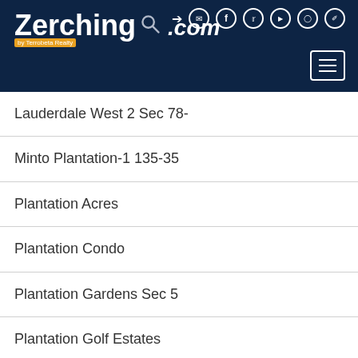[Figure (screenshot): Zerching.com by Terrobeta Realty website header with logo and navigation icons on dark navy background]
Lauderdale West 2 Sec 78-
Minto Plantation-1 135-35
Plantation Acres
Plantation Condo
Plantation Gardens Sec 5
Plantation Golf Estates
Plantation Hills 1 Sec
Plantation Isles Sec Two